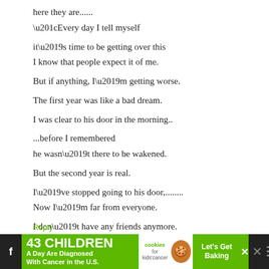here they are......
“Every day I tell myself
it’s time to be getting over this
I know that people expect it of me.

But if anything, I’m getting worse.

The first year was like a bad dream.
I was clear to his door in the morning..

...before I remembered
he wasn’t there to be wakened.

But the second year is real.

I’ve stopped going to his door,........
Now I’m far from everyone.

I don’t have any friends anymore.

And everyone looks trivial
and foolish and...

...not related to me”
[Figure (infographic): Mobile app advertisement banner: green background with text '43 CHILDREN A Day Are Diagnosed With Cancer in the U.S.' alongside Cookies for Kids' Cancer logo and 'Let's Get Baking' text, with navigation icons on dark background.]